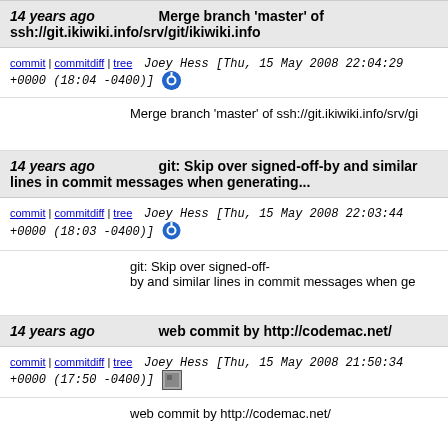14 years ago  Merge branch 'master' of ssh://git.ikiwiki.info/srv/git/ikiwiki.info
commit | commitdiff | tree   Joey Hess [Thu, 15 May 2008 22:04:29 +0000 (18:04 -0400)]
Merge branch 'master' of ssh://git.ikiwiki.info/srv/gi
14 years ago  git: Skip over signed-off-by and similar lines in commit messages when generating...
commit | commitdiff | tree   Joey Hess [Thu, 15 May 2008 22:03:44 +0000 (18:03 -0400)]
git: Skip over signed-off-by and similar lines in commit messages when ge
14 years ago  web commit by http://codemac.net/
commit | commitdiff | tree   Joey Hess [Thu, 15 May 2008 21:50:34 +0000 (17:50 -0400)]
web commit by http://codemac.net/
14 years ago  inline: Display a message if the 'pages' parameter is missing, before it just expande...